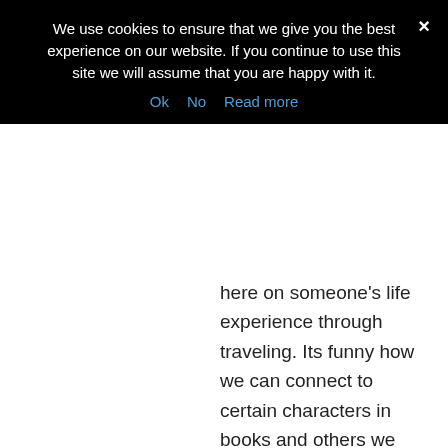We use cookies to ensure that we give you the best experience on our website. If you continue to use this site we will assume that you are happy with it.
Ok  No  Read more
here on someone’s life experience through traveling. Its funny how we can connect to certain characters in books and others we slowly warm up too.
Reply
Mags on April 18, 2016 at 4:42 PM
Thanks for the detailed review. I’m always looking for new reads while I travel, and I’ve got a cruise coming up...